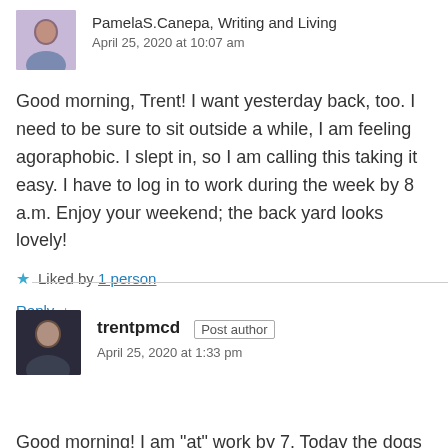PamelaS.Canepa, Writing and Living
April 25, 2020 at 10:07 am
Good morning, Trent! I want yesterday back, too. I need to be sure to sit outside a while, I am feeling agoraphobic. I slept in, so I am calling this taking it easy. I have to log in to work during the week by 8 a.m. Enjoy your weekend; the back yard looks lovely!
★ Liked by 1 person
Reply ↓
trentpmcd Post author
April 25, 2020 at 1:33 pm
Good morning! I am "at" work by 7. Today the dogs started